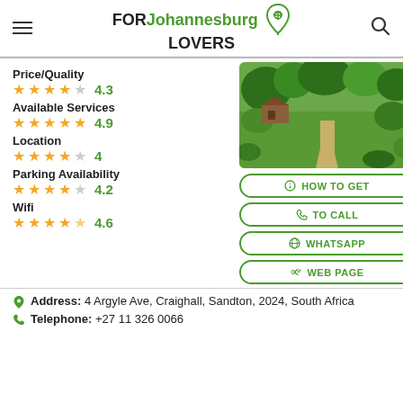FOR Johannesburg LOVERS
Price/Quality ★★★★☆ 4.3
Available Services ★★★★★ 4.9
Location ★★★★☆ 4
Parking Availability ★★★★☆ 4.2
Wifi ★★★★☆ 4.6
[Figure (photo): Garden venue with lush greenery, trees, and a pathway]
HOW TO GET
TO CALL
WHATSAPP
WEB PAGE
Address: 4 Argyle Ave, Craighall, Sandton, 2024, South Africa
Telephone: +27 11 326 0066